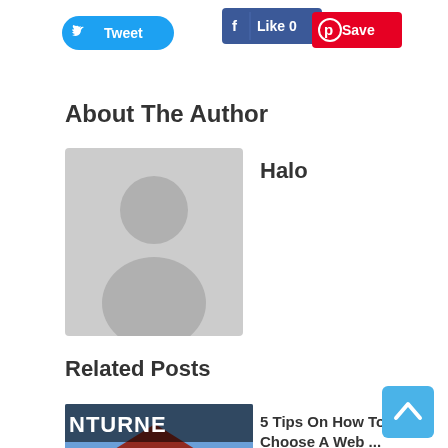[Figure (other): Tweet button (Twitter social share button, cyan/blue rounded pill shape)]
[Figure (other): Facebook Like 0 button (blue rounded rectangle)]
[Figure (other): Save button (Pinterest, red rounded rectangle)]
About The Author
[Figure (other): Author avatar placeholder image — grey square with silhouette of a person (head and shoulders)]
Halo
Related Posts
[Figure (screenshot): Thumbnail image for related post showing a game scene with text NTURNE and TO HOST A 30S at bottom]
5 Tips On How To Choose A Web ...
June 20, 2017
[Figure (other): Back to top button — light blue square with upward chevron arrow]